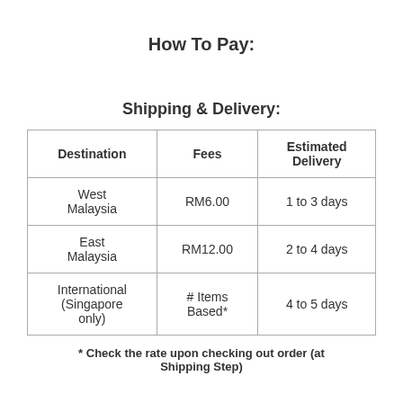How To Pay:
Shipping & Delivery:
| Destination | Fees | Estimated Delivery |
| --- | --- | --- |
| West Malaysia | RM6.00 | 1 to 3 days |
| East Malaysia | RM12.00 | 2 to 4 days |
| International (Singapore only) | # Items Based* | 4 to 5 days |
* Check the rate upon checking out order (at Shipping Step)